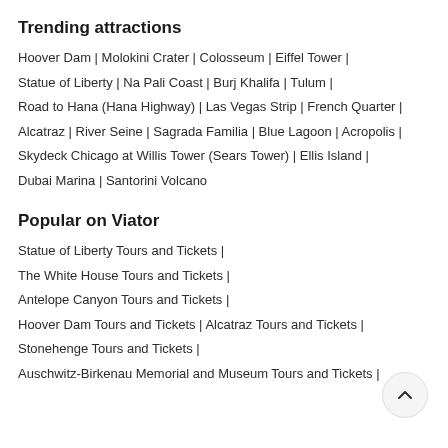Trending attractions
Hoover Dam | Molokini Crater | Colosseum | Eiffel Tower | Statue of Liberty | Na Pali Coast | Burj Khalifa | Tulum | Road to Hana (Hana Highway) | Las Vegas Strip | French Quarter | Alcatraz | River Seine | Sagrada Familia | Blue Lagoon | Acropolis | Skydeck Chicago at Willis Tower (Sears Tower) | Ellis Island | Dubai Marina | Santorini Volcano
Popular on Viator
Statue of Liberty Tours and Tickets | The White House Tours and Tickets | Antelope Canyon Tours and Tickets | Hoover Dam Tours and Tickets | Alcatraz Tours and Tickets | Stonehenge Tours and Tickets | Auschwitz-Birkenau Memorial and Museum Tours and Tickets |